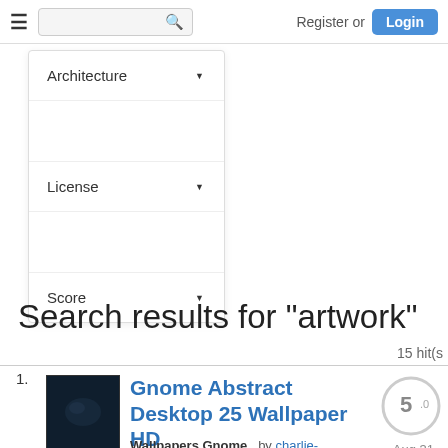≡  [search]  Register or Login
Architecture ▾
License ▾
Score ▾
Search results for "artwork"
15 hit(s
1. Gnome Abstract Desktop 25 Wallpaper HD
5.0
Aug 31 2019
Wallpapers Gnome   by charlie-